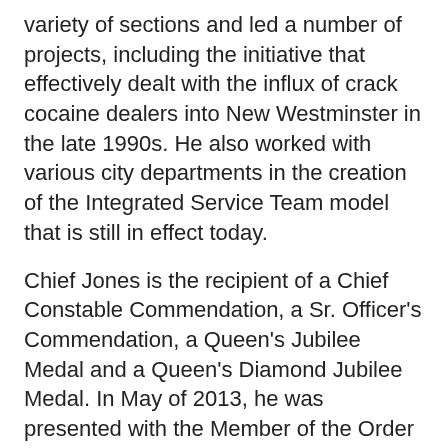variety of sections and led a number of projects, including the initiative that effectively dealt with the influx of crack cocaine dealers into New Westminster in the late 1990s. He also worked with various city departments in the creation of the Integrated Service Team model that is still in effect today.
Chief Jones is the recipient of a Chief Constable Commendation, a Sr. Officer's Commendation, a Queen's Jubilee Medal and a Queen's Diamond Jubilee Medal. In May of 2013, he was presented with the Member of the Order of Merit of the Police Forces medal by the Governor General of Canada. Chief Jones holds a Bachelor of General Studies degree and is currently enrolled in a Master of Law degree program.
Chief Jones has deep roots in the community. He is a member of several police organizations, and is a dedicated volunteer with community soccer and sports programs.